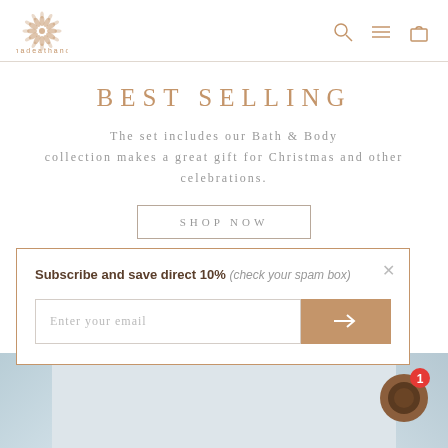madeathand
BEST SELLING
The set includes our Bath & Body collection makes a great gift for Christmas and other celebrations.
SHOP NOW
Subscribe and save direct 10% (check your spam box)
[Figure (screenshot): Email subscription form with input field and submit arrow button]